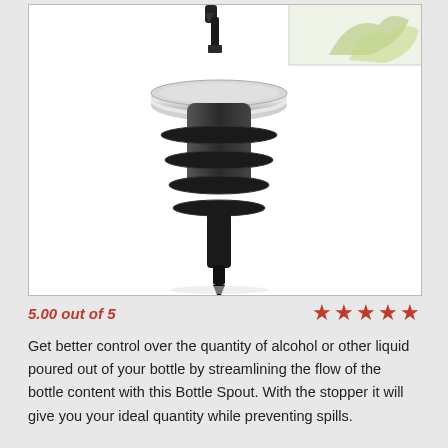[Figure (photo): Close-up photo of a bottle pourer/spout with a chrome ring collar, black rubber gripper fins, and a black tapered nozzle tip. White background. A second product image partially visible at top right.]
5.00 out of 5
Get better control over the quantity of alcohol or other liquid poured out of your bottle by streamlining the flow of the bottle content with this Bottle Spout. With the stopper it will give you your ideal quantity while preventing spills.